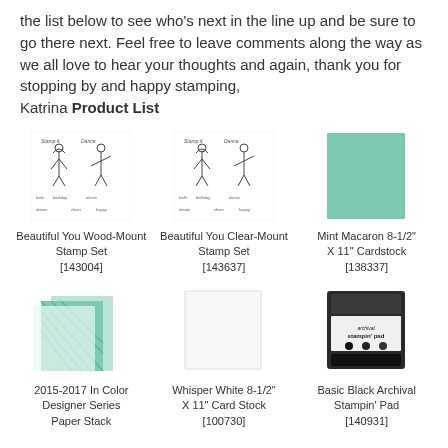the list below to see who's next in the line up and be sure to go there next. Feel free to leave comments along the way as we all love to hear your thoughts and again, thank you for stopping by and happy stamping, Katrina Product List
[Figure (illustration): Beautiful You Wood-Mount Stamp Set product image]
Beautiful You Wood-Mount Stamp Set [143004]
[Figure (illustration): Beautiful You Clear-Mount Stamp Set product image]
Beautiful You Clear-Mount Stamp Set [143637]
[Figure (illustration): Mint Macaron 8-1/2" X 11" Cardstock product image - solid mint green card]
Mint Macaron 8-1/2" X 11" Cardstock [138337]
[Figure (illustration): 2015-2017 In Color Designer Series Paper Stack product image]
2015-2017 In Color Designer Series Paper Stack [139430]
[Figure (illustration): Whisper White 8-1/2" X 11" Card Stock product image - white card]
Whisper White 8-1/2" X 11" Card Stock [100730]
[Figure (illustration): Basic Black Archival Stampin' Pad product image]
Basic Black Archival Stampin' Pad [140931]